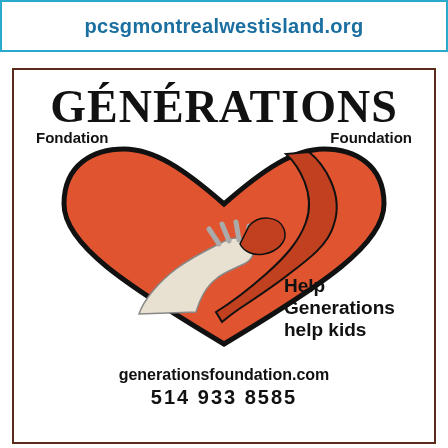pcsgmontrealwestisland.org
[Figure (logo): Générations Fondation Foundation logo: large red-orange heart with adult hand and child hand interlocked, black outline, with text 'GÉNÉRATIONS', 'Fondation', 'Foundation', and 'Help Generations help kids']
generationsfoundation.com
514 933 8585